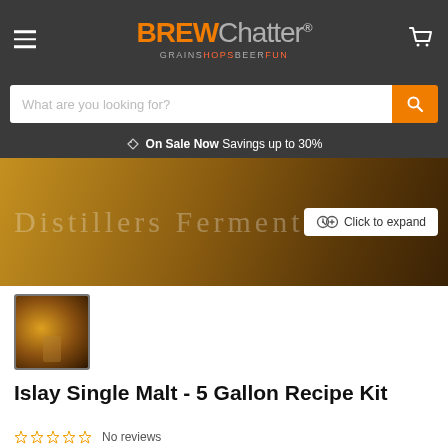BREW Chatter GRAINS HOPS BEER FUN
What are you looking for?
On Sale Now  Savings up to 30%
[Figure (photo): Product hero image showing a distillery fermentation room with barrels, partially visible text 'Distillers Fermenta' and a 'Click to expand' button overlay]
[Figure (photo): Thumbnail image of distillery barrel room interior]
Islay Single Malt - 5 Gallon Recipe Kit
No reviews
$40.99